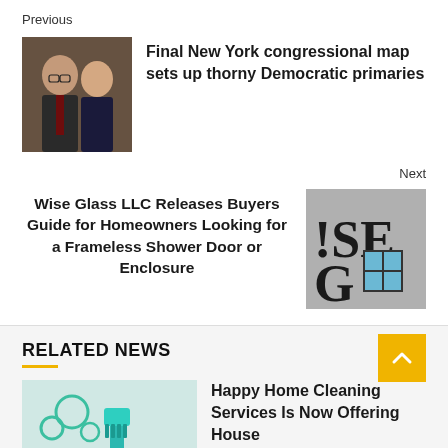Previous
[Figure (photo): Photo of two politicians, a man in a suit with glasses and a woman in dark clothing]
Final New York congressional map sets up thorny Democratic primaries
Next
Wise Glass LLC Releases Buyers Guide for Homeowners Looking for a Frameless Shower Door or Enclosure
[Figure (logo): Wise Glass LLC logo showing the letters 'SE G' and a window icon on a grey background]
RELATED NEWS
[Figure (illustration): Illustration of cleaning tools: green bubbles and a blue brush on a light background]
Happy Home Cleaning Services Is Now Offering House